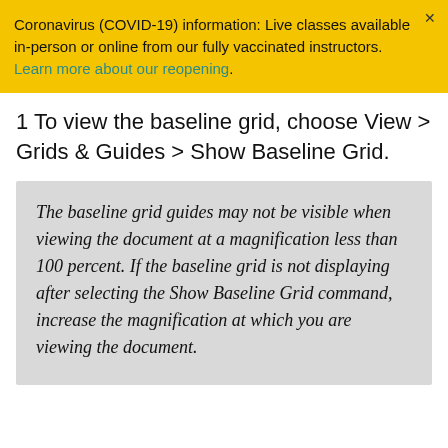Coronavirus (COVID-19) information: Live classes available in-person or online from our fully vaccinated instructors. Learn more about our reopening.
1 To view the baseline grid, choose View > Grids & Guides > Show Baseline Grid.
The baseline grid guides may not be visible when viewing the document at a magnification less than 100 percent. If the baseline grid is not displaying after selecting the Show Baseline Grid command, increase the magnification at which you are viewing the document.